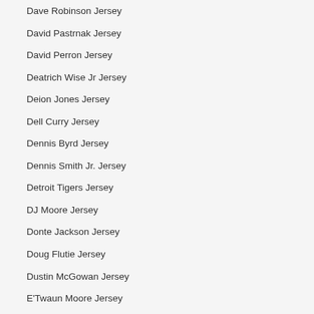Dave Robinson Jersey
David Pastrnak Jersey
David Perron Jersey
Deatrich Wise Jr Jersey
Deion Jones Jersey
Dell Curry Jersey
Dennis Byrd Jersey
Dennis Smith Jr. Jersey
Detroit Tigers Jersey
DJ Moore Jersey
Donte Jackson Jersey
Doug Flutie Jersey
Dustin McGowan Jersey
E'Twaun Moore Jersey